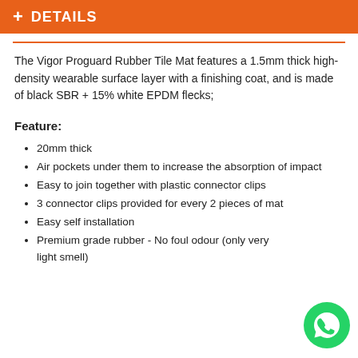+ DETAILS
The Vigor Proguard Rubber Tile Mat features a 1.5mm thick high-density wearable surface layer with a finishing coat, and is made of black SBR + 15% white EPDM flecks;
Feature:
20mm thick
Air pockets under them to increase the absorption of impact
Easy to join together with plastic connector clips
3 connector clips provided for every 2 pieces of mat
Easy self installation
Premium grade rubber - No foul odour (only very light smell)
[Figure (logo): WhatsApp green phone icon circle]